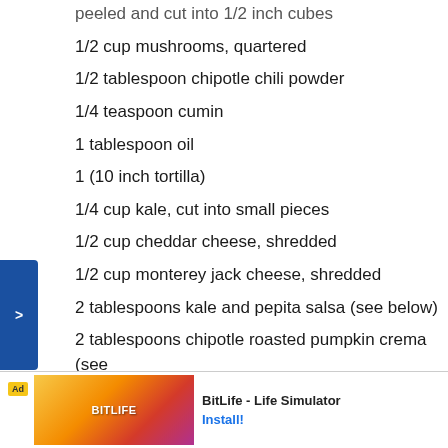peeled and cut into 1/2 inch cubes
1/2 cup mushrooms, quartered
1/2 tablespoon chipotle chili powder
1/4 teaspoon cumin
1 tablespoon oil
1 (10 inch tortilla)
1/4 cup kale, cut into small pieces
1/2 cup cheddar cheese, shredded
1/2 cup monterey jack cheese, shredded
2 tablespoons kale and pepita salsa (see below)
2 tablespoons chipotle roasted pumpkin crema (see below)
directions
1. Toss the pumpkin and mushrooms in the chili powder, cumin and oil and roast in a preheated 40[...]r and sta[...]